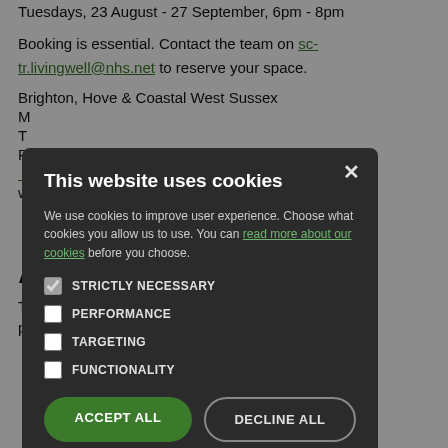Tuesdays, 23 August - 27 September, 6pm - 8pm
Booking is essential. Contact the team on sc-tr.livingwell@nhs.net to reserve your space.
Brighton, Hove & Coastal West Sussex
M
T
P
ebsite
vices/living-
w
T
ice with
A
T... being checks for people at home to help keep them safe and well this
[Figure (other): Cookie consent modal dialog on a dark semi-transparent overlay. Modal has title 'This website uses cookies', body text about cookie usage with a link 'read more about our cookies', four checkboxes (STRICTLY NECESSARY checked, PERFORMANCE, TARGETING, FUNCTIONALITY unchecked), and two buttons: ACCEPT ALL (green) and DECLINE ALL (outline).]